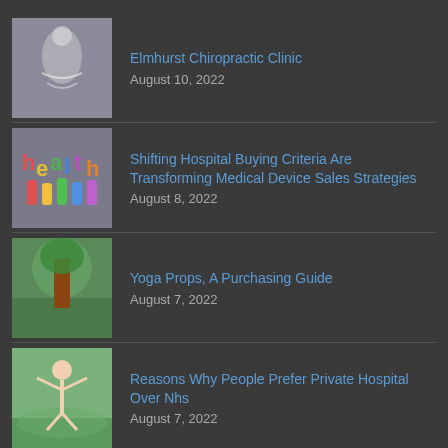[Figure (photo): Chiropractic hands on spine illustration]
Elmhurst Chiropractic Clinic
August 10, 2022
[Figure (photo): Colorful health letters in hands]
Shifting Hospital Buying Criteria Are Transforming Medical Device Sales Strategies
August 8, 2022
[Figure (photo): Yoga props outdoors green background]
Yoga Props, A Purchasing Guide
August 7, 2022
[Figure (photo): Person jumping in field]
Reasons Why People Prefer Private Hospital Over Nhs
August 7, 2022
[Figure (photo): Family with children healthcare]
The Role of Hospitals Today
August 5, 2022
[Figure (photo): Loose health abbreviations logo]
Common Healthcare Abbreviations To Master
August 5, 2022